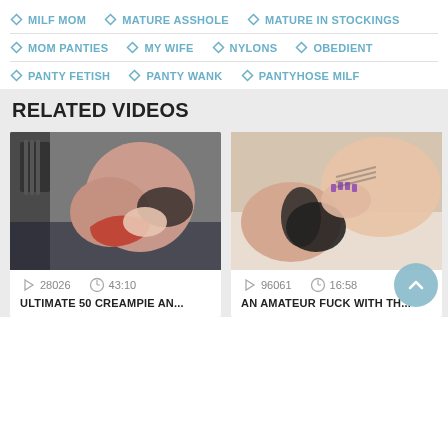MILF MOM
MATURE ASSHOLE
MATURE IN STOCKINGS
MOM PANTIES
MY WIFE
NYLONS
OBEDIENT
PANTY FETISH
PANTY WANK
PANTYHOSE MILF
RELATED VIDEOS
[Figure (photo): Video thumbnail 1 - adult content]
28026   43:10
ULTIMATE 50 CREAMPIE AN...
[Figure (photo): Video thumbnail 2 - adult content]
96061   16:58
AN AMATEUR FUCK WITH TH...